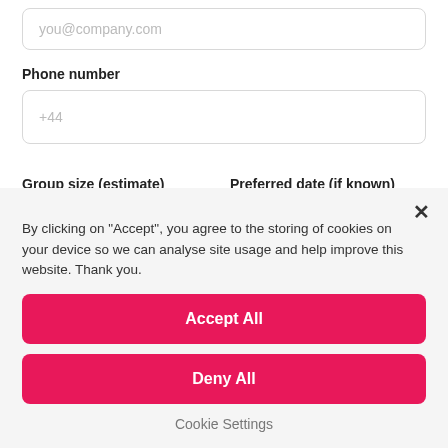you@company.com
Phone number
+44
Group size (estimate)
Preferred date (if known)
100
31 Dec 2022
By clicking on "Accept", you agree to the storing of cookies on your device so we can analyse site usage and help improve this website. Thank you.
Accept All
Deny All
Cookie Settings